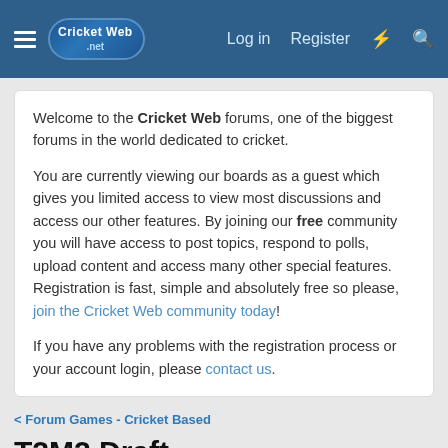Cricket Web forums – Log in | Register
Welcome to the Cricket Web forums, one of the biggest forums in the world dedicated to cricket.

You are currently viewing our boards as a guest which gives you limited access to view most discussions and access our other features. By joining our free community you will have access to post topics, respond to polls, upload content and access many other special features. Registration is fast, simple and absolutely free so please, join the Cricket Web community today!

If you have any problems with the registration process or your account login, please contact us.
Forum Games - Cricket Based
T2M2 Draft
Teuton · Sep 14, 2020